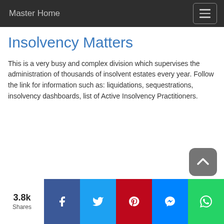Master Home
Insolvency Matters
This is a very busy and complex division which supervises the administration of thousands of insolvent estates every year. Follow the link for information such as: liquidations, sequestrations, insolvency dashboards, list of Active Insolvency Practitioners.